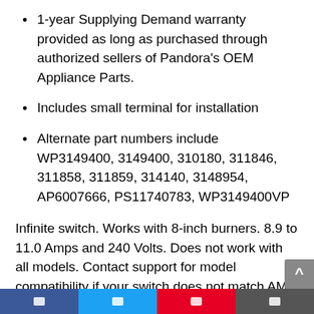1-year Supplying Demand warranty provided as long as purchased through authorized sellers of Pandora's OEM Appliance Parts.
Includes small terminal for installation
Alternate part numbers include WP3149400, 3149400, 310180, 311846, 311858, 311859, 314140, 3148954, AP6007666, PS11740783, WP3149400VP
Infinite switch. Works with 8-inch burners. 8.9 to 11.0 Amps and 240 Volts. Does not work with all models. Contact support for model compatibility if your switch does not match AMP draw. The shaft on this switch is adjustable under breakage between pliers on each side. Contact support